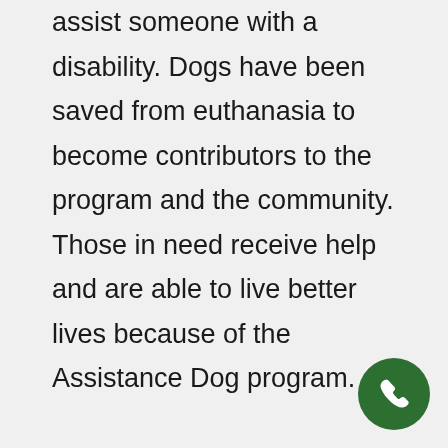assist someone with a disability. Dogs have been saved from euthanasia to become contributors to the program and the community. Those in need receive help and are able to live better lives because of the Assistance Dog program.

The Daily Point of Light Award honors individuals and volunteer groups that have made a commitment to connect Americans through service to help
[Figure (other): Green circular phone/call button icon in the bottom right corner]